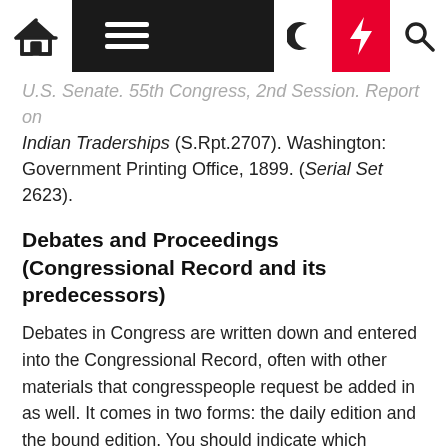Navigation bar with home, menu, dark mode, flash, and search icons
U.S. Senate. 55th Congress, 2nd Session. Report on Indian Traderships (S.Rpt.2707). Washington: Government Printing Office, 1899. (Serial Set 2623).
Debates and Proceedings (Congressional Record and its predecessors)
Debates in Congress are written down and entered into the Congressional Record, often with other materials that congresspeople request be added in as well. It comes in two forms: the daily edition and the bound edition. You should indicate which version you're citing. Note that the speaker's name comes first. Add the state to reduce confusion. For the Congressional Globe, the Register of Debates, and the Annals of Congress, see Smith and Cheney.
Bound edition